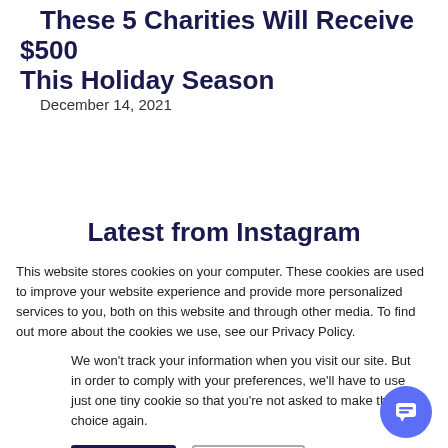These 5 Charities Will Receive $500 This Holiday Season
December 14, 2021
Latest from Instagram
This website stores cookies on your computer. These cookies are used to improve your website experience and provide more personalized services to you, both on this website and through other media. To find out more about the cookies we use, see our Privacy Policy.
We won't track your information when you visit our site. But in order to comply with your preferences, we'll have to use just one tiny cookie so that you're not asked to make this choice again.